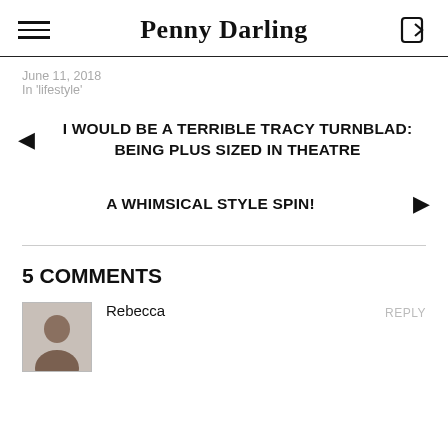Penny Darling
June 11, 2018
In 'lifestyle'
◄ I WOULD BE A TERRIBLE TRACY TURNBLAD: BEING PLUS SIZED IN THEATRE
A WHIMSICAL STYLE SPIN! ►
5 COMMENTS
Rebecca
REPLY